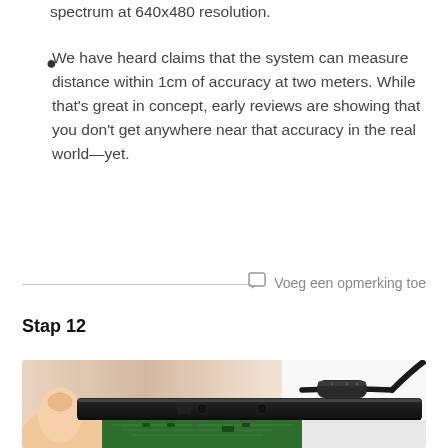spectrum at 640x480 resolution.
We have heard claims that the system can measure distance within 1cm of accuracy at two meters. While that's great in concept, early reviews are showing that you don't get anywhere near that accuracy in the real world—yet.
Voeg een opmerking toe
Stap 12
[Figure (photo): Close-up photo of a hand holding a black electronic device (appears to be a Kinect or similar sensor bar), showing a cable with a ferrite choke/bead attached. The device interior with green circuit board is partially visible.]